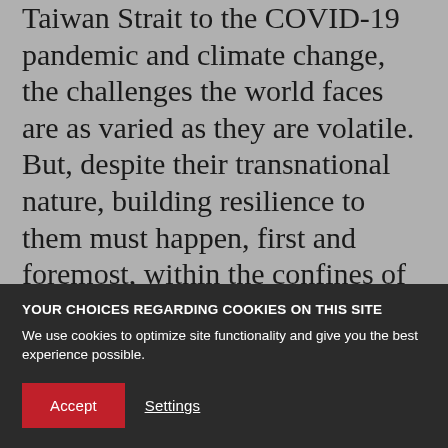Taiwan Strait to the COVID-19 pandemic and climate change, the challenges the world faces are as varied as they are volatile. But, despite their transnational nature, building resilience to them must happen, first and foremost, within the confines of nation-states.
To be sure, effective multilateral cooperation has an important role to play. But intensifying geopolitical rivalries limit its potential. Moreover, even if countries did work together, their ability to address destabilizing
YOUR CHOICES REGARDING COOKIES ON THIS SITE
We use cookies to optimize site functionality and give you the best experience possible.